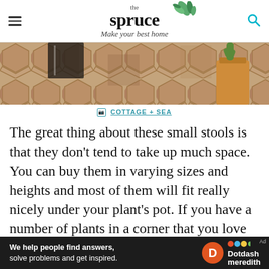the spruce — Make your best home
[Figure (photo): Close-up photo of hexagonal terracotta/stone floor tiles with a small cactus in a terracotta pot visible in the top right corner]
COTTAGE + SEA
The great thing about these small stools is that they don't tend to take up much space. You can buy them in varying sizes and heights and most of them will fit really nicely under your plant's pot. If you have a number of plants in a corner that you love to look at but they're blending together, elevating them using different stool heights will help separate them out. Start with the tallest plant in the back and end with the
[Figure (infographic): Dotdash Meredith advertisement banner: 'We help people find answers, solve problems and get inspired.' with Dotdash Meredith logo]